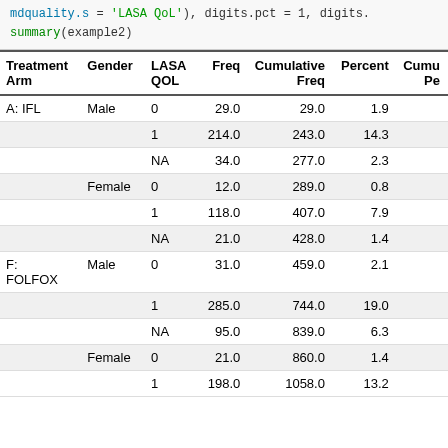mdquality.s = 'LASA QoL'), digits.pct = 1, digits. summary(example2)
| Treatment Arm | Gender | LASA QOL | Freq | Cumulative Freq | Percent | Cumu Pe |
| --- | --- | --- | --- | --- | --- | --- |
| A: IFL | Male | 0 | 29.0 | 29.0 | 1.9 |  |
|  |  | 1 | 214.0 | 243.0 | 14.3 |  |
|  |  | NA | 34.0 | 277.0 | 2.3 |  |
|  | Female | 0 | 12.0 | 289.0 | 0.8 |  |
|  |  | 1 | 118.0 | 407.0 | 7.9 |  |
|  |  | NA | 21.0 | 428.0 | 1.4 |  |
| F: FOLFOX | Male | 0 | 31.0 | 459.0 | 2.1 |  |
|  |  | 1 | 285.0 | 744.0 | 19.0 |  |
|  |  | NA | 95.0 | 839.0 | 6.3 |  |
|  | Female | 0 | 21.0 | 860.0 | 1.4 |  |
|  |  | 1 | 198.0 | 1058.0 | 13.2 |  |